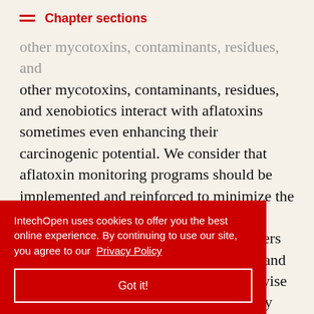Chapter sections
other mycotoxins, contaminants, residues, and xenobiotics interact with aflatoxins sometimes even enhancing their carcinogenic potential. We consider that aflatoxin monitoring programs should be implemented and reinforced to minimize the impact of aflatoxins on animals and humans. On the other hand, policy makers and officials should concentrate efforts and prioritize the incorporation of country-wise feed monitoring systems where currently there are none. Based on the data [surveying should] [cts and pet] [g balanced] [t, evidence] [ulations can] [xin]
IntechOpen uses cookies to offer you the best online experience. By continuing to use our site, you agree to our Privacy Policy
Got it!